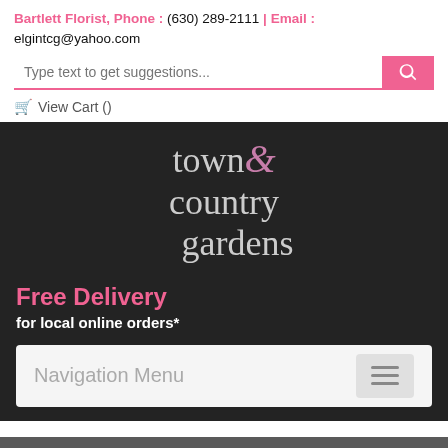Bartlett Florist, Phone : (630) 289-2111 | Email : elgintcg@yahoo.com
[Figure (screenshot): Search input bar with placeholder 'Type text to get suggestions...' and a pink search button with magnifying glass icon]
View Cart ()
[Figure (logo): Town & Country Gardens logo in white and mauve serif text on dark background]
Free Delivery for local online orders*
Navigation Menu (hamburger menu button)
Same Day Delivery ENDS IN: Hours : Minutes : Seconds